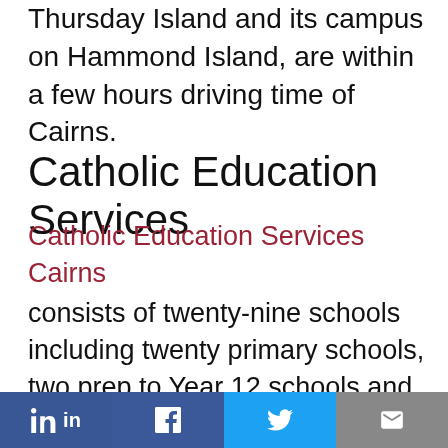Thursday Island and its campus on Hammond Island, are within a few hours driving time of Cairns.
Catholic Education Services
Catholic Education Services Cairns consists of twenty-nine schools including twenty primary schools, two prep to Year 12 schools and seven secondary colleges which includes a Special Assistance School with campuses in Cairns and Cooktown. This includes two new schools
in  f  [twitter]  [email]